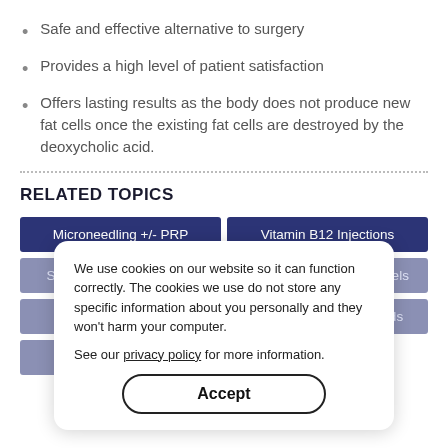Safe and effective alternative to surgery
Provides a high level of patient satisfaction
Offers lasting results as the body does not produce new fat cells once the existing fat cells are destroyed by the deoxycholic acid.
RELATED TOPICS
Microneedling +/- PRP | Vitamin B12 Injections
Skinny Shots | Body Contouring | Chemical Peels
Botox | Dermal Fillers | PDO Threads
PRP Services
We use cookies on our website so it can function correctly. The cookies we use do not store any specific information about you personally and they won't harm your computer. See our privacy policy for more information.
Accept